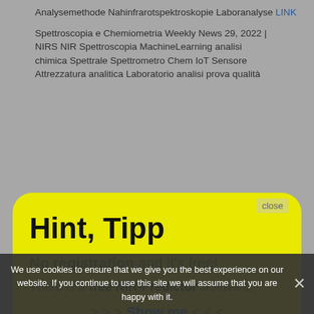Analysemethode Nahinfrarotspektroskopie Laboranalyse LINK
Spettroscopia e Chemiometria Weekly News 29, 2022 | NIRS NIR Spettroscopia MachineLearning analisi chimica Spettrale Spettrometro Chem IoT Sensore Attrezzatura analitica Laboratorio analisi prova qualità
[Figure (screenshot): Yellow rounded popup box with headline 'Hint, Tipp', text 'No registration and it's free!', 'There is a free NIR-Predictor Software.', and a '>>> Show me <<<' call to action link. A 'close' button appears in the top right.]
Tools and Near-Infrared Spectroscopy for Quality Analysis of Wine LINK
"Impact of Freeze-drying on the Determination of the Geographical Origin of Almonds (Prunus dulcis Mill.) by Near-Infrared (NIR) Spectroscopy" | LINK
We use cookies to ensure that we give you the best experience on our website. If you continue to use this site we will assume that you are happy with it.